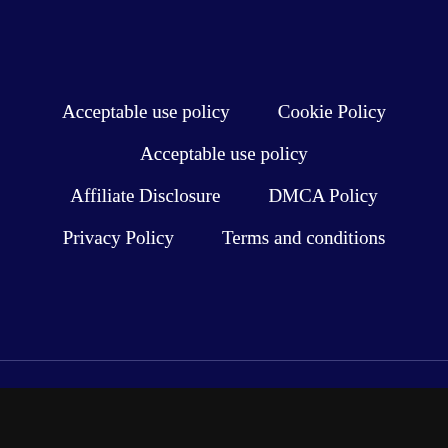Acceptable use policy
Cookie Policy
Acceptable use policy
Affiliate Disclosure
DMCA Policy
Privacy Policy
Terms and conditions
© 2022 Backpackjoy | All Rights Reserved
[Figure (infographic): Pure Earth advertisement banner: 'We believe the global pollution crisis can be solved.' with tagline 'In a world where pollution doesn't stop at borders, we can all be part of the solution. JOIN US.' and Pure Earth logo.]